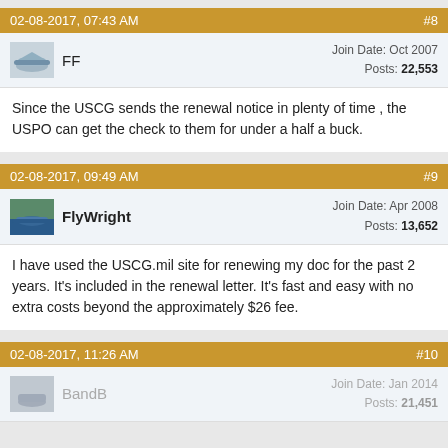02-08-2017, 07:43 AM  #8
FF  Join Date: Oct 2007  Posts: 22,553
Since the USCG sends the renewal notice in plenty of time , the USPO can get the check to them for under a half a buck.
02-08-2017, 09:49 AM  #9
FlyWright  Join Date: Apr 2008  Posts: 13,652
I have used the USCG.mil site for renewing my doc for the past 2 years. It's included in the renewal letter. It's fast and easy with no extra costs beyond the approximately $26 fee.
02-08-2017, 11:26 AM  #10
BandB  Join Date: Jan 2014  Posts: 21,451